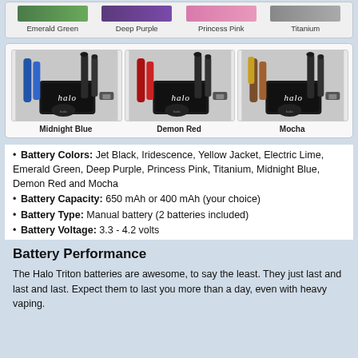Emerald Green   Deep Purple   Princess Pink   Titanium
[Figure (photo): Three Halo e-cigarette kit sets in Midnight Blue, Demon Red, and Mocha colors, each showing batteries, atomizer, case, and USB charger]
Midnight Blue   Demon Red   Mocha
Battery Colors: Jet Black, Iridescence, Yellow Jacket, Electric Lime, Emerald Green, Deep Purple, Princess Pink, Titanium, Midnight Blue, Demon Red and Mocha
Battery Capacity: 650 mAh or 400 mAh (your choice)
Battery Type: Manual battery (2 batteries included)
Battery Voltage: 3.3 - 4.2 volts
Battery Performance
The Halo Triton batteries are awesome, to say the least. They just last and last and last. Expect them to last you more than a day, even with heavy vaping.